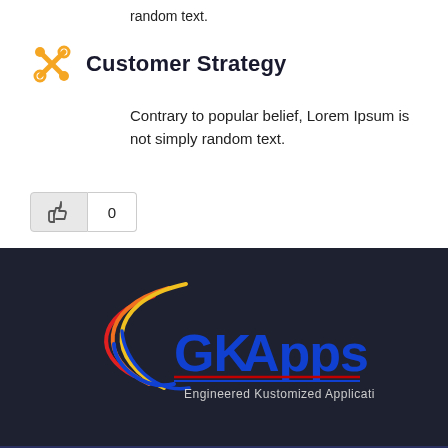random text.
Customer Strategy
Contrary to popular belief, Lorem Ipsum is not simply random text.
[Figure (logo): GKApps logo with colored orbital arcs and text 'GKApps Engineered Kustomized Applications' on dark background]